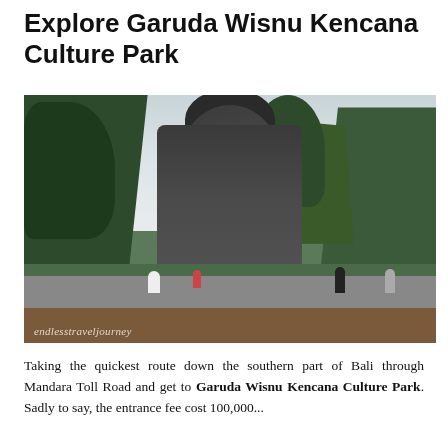Explore Garuda Wisnu Kencana Culture Park
[Figure (photo): Large stone statue of Garuda Wisnu (Vishnu) at Garuda Wisnu Kencana Culture Park, Bali. The statue bust is surrounded by green trees and an overcast sky. Tourists stand on a platform in front. Watermark reads 'endlesstraveljourney'.]
Taking the quickest route down the southern part of Bali through Mandara Toll Road and get to Garuda Wisnu Kencana Culture Park. Sadly to say, the entrance fee cost 100,000...